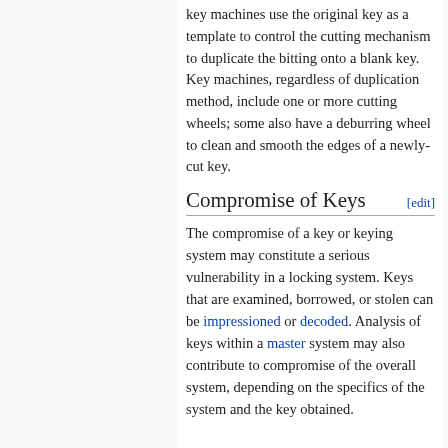key machines use the original key as a template to control the cutting mechanism to duplicate the bitting onto a blank key. Key machines, regardless of duplication method, include one or more cutting wheels; some also have a deburring wheel to clean and smooth the edges of a newly-cut key.
Compromise of Keys [edit]
The compromise of a key or keying system may constitute a serious vulnerability in a locking system. Keys that are examined, borrowed, or stolen can be impressioned or decoded. Analysis of keys within a master system may also contribute to compromise of the overall system, depending on the specifics of the system and the key obtained.
External Links [edit]
Museo della Chiave (video)